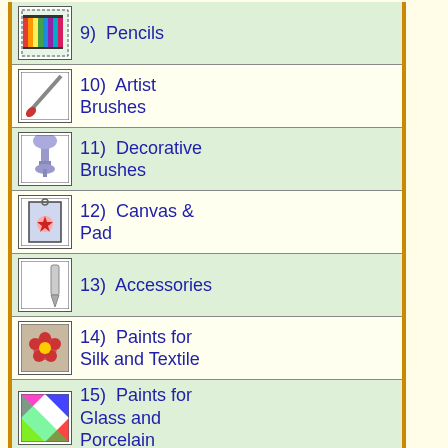9)  Pencils
10)  Artist Brushes
11)  Decorative Brushes
12)  Canvas & Pad
13)  Accessories
14)  Paints for Silk and Textile
15)  Paints for Glass and Porcelain
16)  Paints for Leather
17)  Marbling Paints
18)  Stencils
19)  Miscellanea